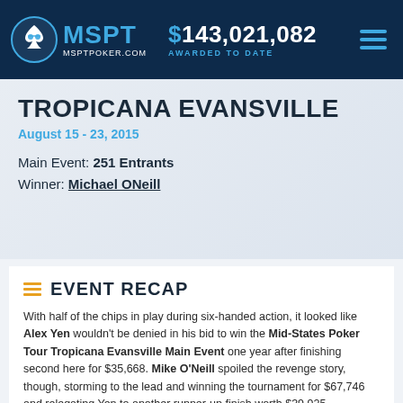MSPT MSPTPOKER.COM $143,021,082 AWARDED TO DATE
TROPICANA EVANSVILLE
August 15 - 23, 2015
Main Event: 251 Entrants
Winner: Michael ONeill
EVENT RECAP
With half of the chips in play during six-handed action, it looked like Alex Yen wouldn't be denied in his bid to win the Mid-States Poker Tour Tropicana Evansville Main Event one year after finishing second here for $35,668. Mike O'Neill spoiled the revenge story, though, storming to the lead and winning the tournament for $67,746 and relegating Yen to another runner-up finish worth $39,925.
The MSPT's second trip to Southern Indiana drew 251 runners, just enough to inch past the guaranteed prize pool of $250,000. Forty-nine of those players qualified for Day 2 after two starting flights and